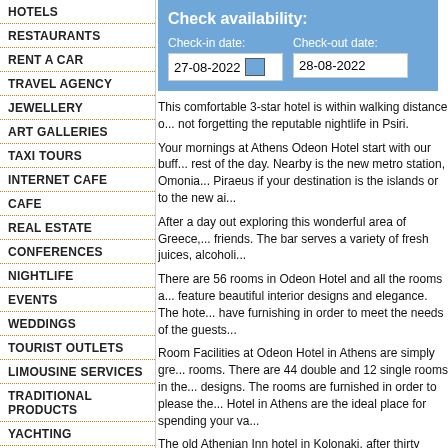HOTELS
RESTAURANTS
RENT A CAR
TRAVEL AGENCY
JEWELLERY
ART GALLERIES
TAXI TOURS
INTERNET CAFE
CAFE
REAL ESTATE
CONFERENCES
NIGHTLIFE
EVENTS
WEDDINGS
TOURIST OUTLETS
LIMOUSINE SERVICES
TRADITIONAL PRODUCTS
YACHTING
COSMETICS
LAUNDRY
CRUISES
HOSTELS
GRILL HOUSE
Check availability:
Check-in date: 27-08-2022   Check-out date: 28-08-2022
This comfortable 3-star hotel is within walking distance of... not forgetting the reputable nightlife in Psiri.
Your mornings at Athens Odeon Hotel start with our buff... rest of the day. Nearby is the new metro station, Omonia... Piraeus if your destination is the islands or to the new ai...
After a day out exploring this wonderful area of Greece,... friends. The bar serves a variety of fresh juices, alcoholi...
There are 56 rooms in Odeon Hotel and all the rooms a... feature beautiful interior designs and elegance. The hote... have furnishing in order to meet the needs of the guests...
Room Facilities at Odeon Hotel in Athens are simply gre... rooms. There are 44 double and 12 single rooms in the... designs. The rooms are furnished in order to please the... Hotel in Athens are the ideal place for spending your va...
The old Athenian Inn hotel in Kolonaki, after thirty years... centre of Athens near all the significant archaeological s...
Ranks # 31 out of 44 hotels in Greece Athe...
Click here to read the ODEON HOTEL REV...